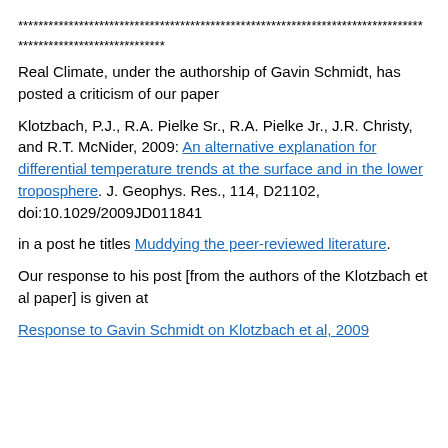******************************************************************************** *****************************
Real Climate, under the authorship of Gavin Schmidt, has posted a criticism of our paper
Klotzbach, P.J., R.A. Pielke Sr., R.A. Pielke Jr., J.R. Christy, and R.T. McNider, 2009: An alternative explanation for differential temperature trends at the surface and in the lower troposphere. J. Geophys. Res., 114, D21102, doi:10.1029/2009JD011841
in a post he titles Muddying the peer-reviewed literature.
Our response to his post [from the authors of the Klotzbach et al paper] is given at
Response to Gavin Schmidt on Klotzbach et al, 2009